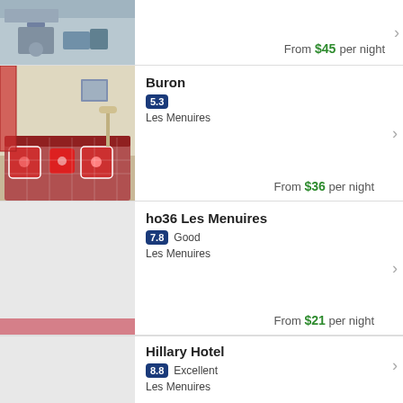[Figure (photo): Partial hotel room photo at top of page, showing a table/chairs scene]
From $45 per night
Buron
[Figure (photo): Hotel room photo showing red-and-white patterned bedding/pillows on a sofa or bed]
5.3
Les Menuires
From $36 per night
ho36 Les Menuires
[Figure (photo): Gray placeholder image for ho36 Les Menuires]
7.8  Good
Les Menuires
From $21 per night
Hillary Hotel
[Figure (photo): Gray placeholder image for Hillary Hotel]
8.8  Excellent
Les Menuires